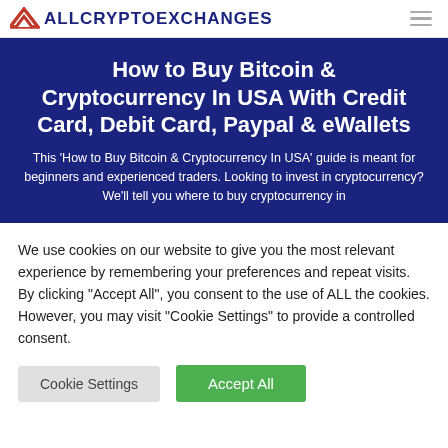ALLCRYPTOEXCHANGES
How to Buy Bitcoin & Cryptocurrency In USA With Credit Card, Debit Card, Paypal & eWallets
This ‘How to Buy Bitcoin & Cryptocurrency In USA’ guide is meant for beginners and experienced traders. Looking to invest in cryptocurrency? We’ll tell you where to buy cryptocurrency in
We use cookies on our website to give you the most relevant experience by remembering your preferences and repeat visits. By clicking “Accept All”, you consent to the use of ALL the cookies. However, you may visit “Cookie Settings” to provide a controlled consent.
Cookie Settings | Accept All